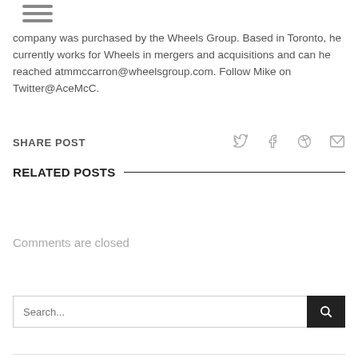[Figure (other): Hamburger menu icon with three horizontal lines]
company was purchased by the Wheels Group. Based in Toronto, he currently works for Wheels in mergers and acquisitions and can he reached atmmccarron@wheelsgroup.com. Follow Mike on Twitter@AceMcC.
SHARE POST
RELATED POSTS
Comments are closed
Search...